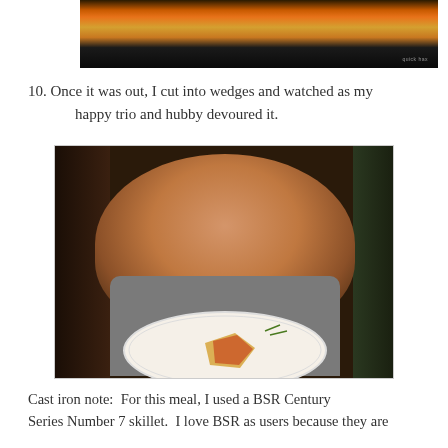[Figure (photo): Top portion of a skillet with food cooking on a stovetop, partial view showing orange/yellow food in a black pan]
10. Once it was out, I cut into wedges and watched as my happy trio and hubby devoured it.
[Figure (photo): A smiling young boy wearing a Batman t-shirt holding a plate with a slice of food (frittata/quiche) on a decorative plate]
Cast iron note:  For this meal, I used a BSR Century Series Number 7 skillet.  I love BSR as users because they are